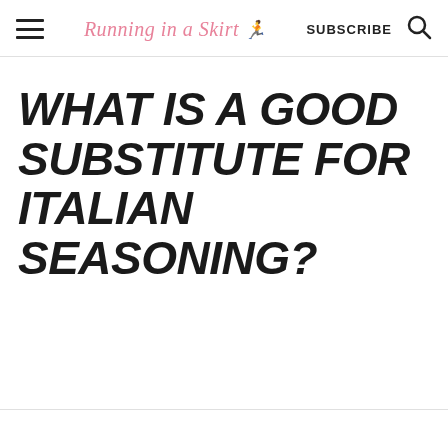Running in a Skirt | SUBSCRIBE
WHAT IS A GOOD SUBSTITUTE FOR ITALIAN SEASONING?